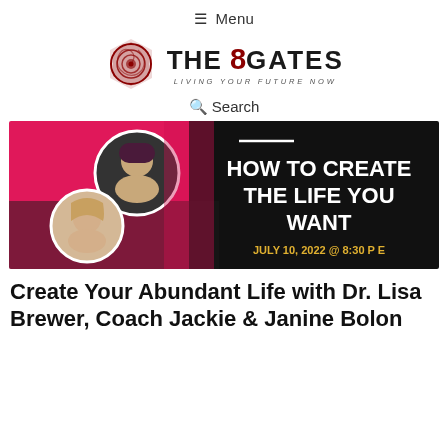≡ Menu
[Figure (logo): The 8 Gates logo with spiral rose icon and tagline LIVING YOUR FUTURE NOW]
Search
[Figure (illustration): Promotional banner for 'How To Create The Life You Want' event on July 10, 2022 @ 8:30 PE, featuring headshots of Dr. Lisa Brewer, Coach Jackie, and Janine Bolon on a dark background with pink accents]
Create Your Abundant Life with Dr. Lisa Brewer, Coach Jackie & Janine Bolon